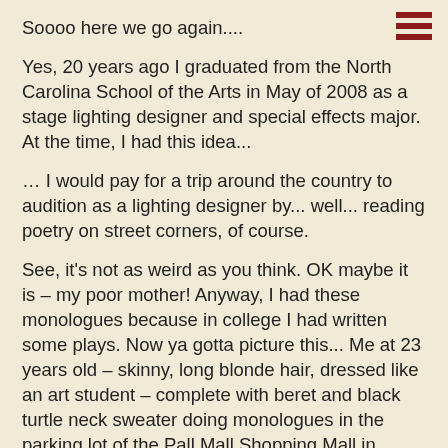Soooo here we go again....
Yes, 20 years ago I graduated from the North Carolina School of the Arts in May of 2008 as a stage lighting designer and special effects major.  At the time, I had this idea...
… I would pay for a trip around the country to audition as a lighting designer by... well... reading poetry on street corners, of course.
See, it's not as weird as you think.  OK maybe it is – my poor mother!  Anyway, I had these monologues because in college I had written some plays.  Now ya gotta picture this... Me at 23 years old – skinny, long blonde hair, dressed like an art student – complete with beret and black turtle neck sweater doing monologues in the parking lot of the Pall Mall Shopping Mall in Winston Salem, NC.  OK Needless to say my career was not off to a glorious start.